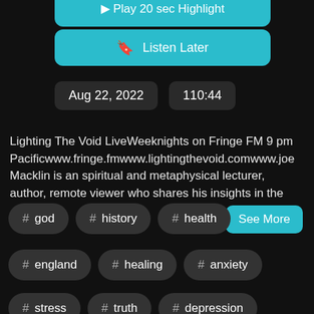[Figure (screenshot): Teal 'Play 20 sec Highlight' button (partially visible at top)]
[Figure (screenshot): Teal 'Listen Later' button with bookmark icon]
Aug 22, 2022   110:44
Lighting The Void LiveWeeknights on Fringe FM 9 pm Pacificwww.fringe.fmwww.lightingthevoid.comwww.joe Macklin is an spiritual and metaphysical lecturer, author, remote viewer who shares his insights in the
See More
# god
# history
# health
# england
# healing
# anxiety
# stress
# truth
# depression
# addiction
# divine
# missouri